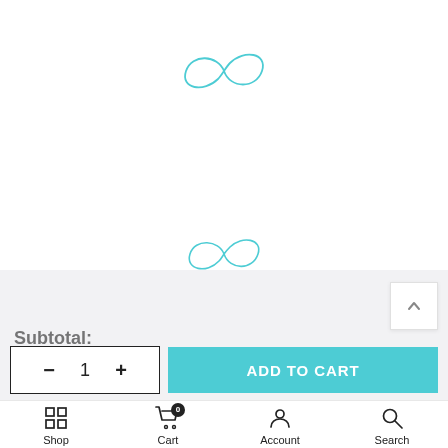[Figure (illustration): Teal/cyan infinity symbol (logo) centered in upper white area]
[Figure (illustration): Teal/cyan infinity symbol (logo) centered in middle white area]
[Figure (illustration): Scroll-to-top button with upward chevron arrow in gray area]
Subtotal:
[Figure (infographic): Add to cart bar with quantity control (minus, 1, plus) and ADD TO CART button in teal]
[Figure (infographic): Bottom navigation bar with Shop, Cart (badge 0), Account, Search icons and labels]